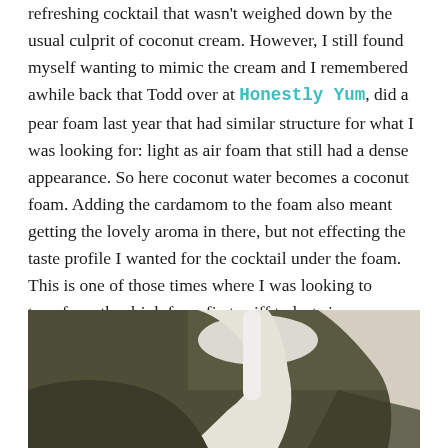refreshing cocktail that wasn't weighed down by the usual culprit of coconut cream. However, I still found myself wanting to mimic the cream and I remembered awhile back that Todd over at Honestly Yum, did a pear foam last year that had similar structure for what I was looking for: light as air foam that still had a dense appearance. So here coconut water becomes a coconut foam. Adding the cardamom to the foam also meant getting the lovely aroma in there, but not effecting the taste profile I wanted for the cocktail under the foam. This is one of those times where I was looking to transform the drink from first sniff to last sip.
[Figure (photo): A photo of what appears to be a cocktail or a hand holding a straw/stirrer, set against a dark olive-brown background. The image is cropped showing a white foam or cream element and a hand or straw in the lower right portion.]